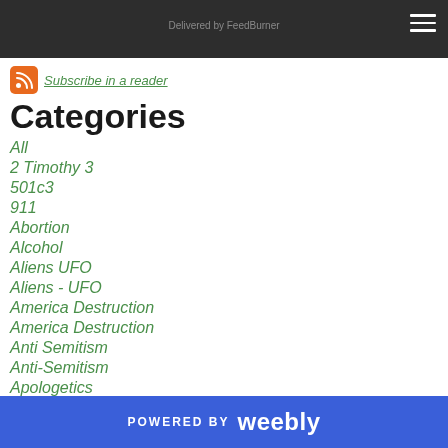Delivered by FeedBurner
Subscribe in a reader
Categories
All
2 Timothy 3
501c3
911
Abortion
Alcohol
Aliens UFO
Aliens - UFO
America Destruction
America Destruction
Anti Semitism
Anti-Semitism
Apologetics
POWERED BY weebly